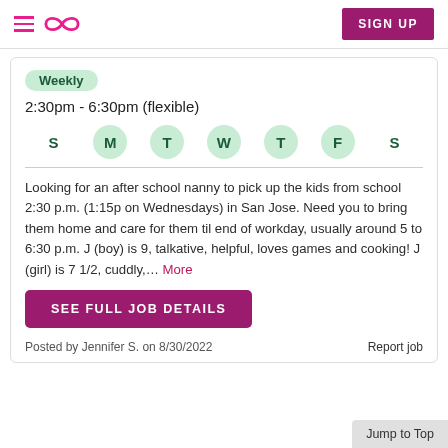☰ ∞ SIGN UP
Weekly
2:30pm - 6:30pm (flexible)
[Figure (infographic): Days of week selector showing S (plain), M (circle), T (circle), W (circle), T (circle), F (circle), S (plain) indicating Monday through Friday are selected.]
Looking for an after school nanny to pick up the kids from school 2:30 p.m. (1:15p on Wednesdays) in San Jose. Need you to bring them home and care for them til end of workday, usually around 5 to 6:30 p.m. J (boy) is 9, talkative, helpful, loves games and cooking! J (girl) is 7 1/2, cuddly,... More
SEE FULL JOB DETAILS
Posted by Jennifer S. on 8/30/2022
Report job
Jump to Top